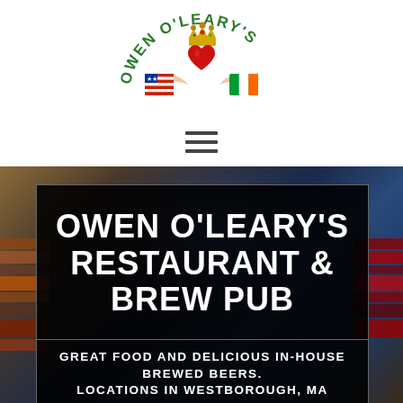[Figure (logo): Owen O'Leary's logo — a claddagh heart with gold crown, hands holding an American flag shield on the left and an Irish flag shield on the right, with green curved text 'OWEN O'LEARY'S' arched above]
[Figure (other): Hamburger menu icon (three horizontal lines)]
[Figure (photo): Background photo of bar/pub interior with books and blue light ambiance]
OWEN O'LEARY'S RESTAURANT & BREW PUB
GREAT FOOD AND DELICIOUS IN-HOUSE BREWED BEERS. LOCATIONS IN WESTBOROUGH, MA